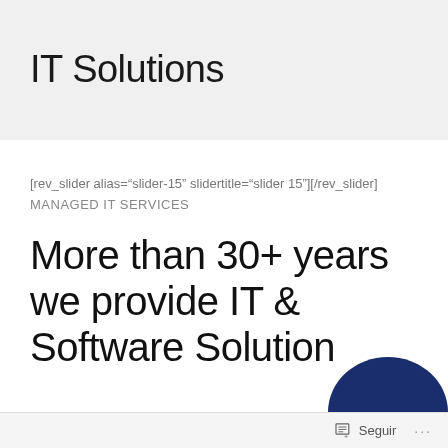IT Solutions
[rev_slider alias="slider-15" slidertitle="slider 15"][/rev_slider]
MANAGED IT SERVICES
More than 30+ years we provide IT & Software Solution
[Figure (illustration): Dark blue semicircle/arc shape visible at bottom right of page]
Seguir ...